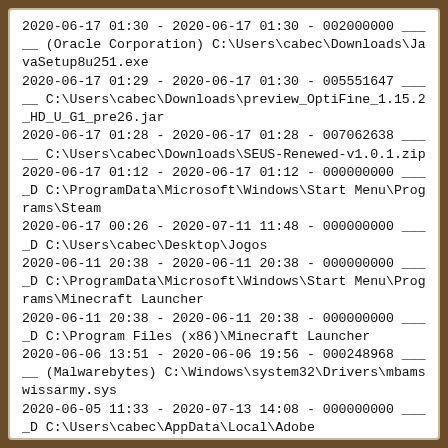2020-06-17 01:30 - 2020-06-17 01:30 - 002000000 _____ (Oracle Corporation) C:\Users\cabec\Downloads\JavaSetup8u251.exe
2020-06-17 01:29 - 2020-06-17 01:30 - 005551647 _____ C:\Users\cabec\Downloads\preview_OptiFine_1.15.2_HD_U_G1_pre26.jar
2020-06-17 01:28 - 2020-06-17 01:28 - 007062638 _____ C:\Users\cabec\Downloads\SEUS-Renewed-v1.0.1.zip
2020-06-17 01:12 - 2020-06-17 01:12 - 000000000 ____D C:\ProgramData\Microsoft\Windows\Start Menu\Programs\Steam
2020-06-17 00:26 - 2020-07-11 11:48 - 000000000 ____D C:\Users\cabec\Desktop\Jogos
2020-06-11 20:38 - 2020-06-11 20:38 - 000000000 ____D C:\ProgramData\Microsoft\Windows\Start Menu\Programs\Minecraft Launcher
2020-06-11 20:38 - 2020-06-11 20:38 - 000000000 ____D C:\Program Files (x86)\Minecraft Launcher
2020-06-06 13:51 - 2020-06-06 19:56 - 000248968 _____ (Malwarebytes) C:\Windows\system32\Drivers\mbamswissarmy.sys
2020-06-05 11:33 - 2020-07-13 14:08 - 000000000 ____D C:\Users\cabec\AppData\Local\Adobe
2020-06-05 11:33 - 2020-07-13 14:07 - 000000000 ____D C:\ProgramData\Adobe
2020-05-28 17:56 - 2020-07-19 17:58 - 000000000 ____D